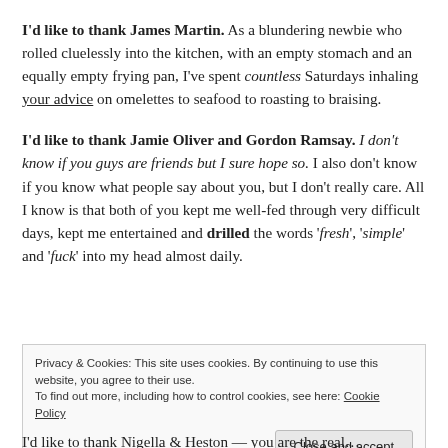I'd like to thank James Martin. As a blundering newbie who rolled cluelessly into the kitchen, with an empty stomach and an equally empty frying pan, I've spent countless Saturdays inhaling your advice on omelettes to seafood to roasting to braising.
I'd like to thank Jamie Oliver and Gordon Ramsay. I don't know if you guys are friends but I sure hope so. I also don't know if you know what people say about you, but I don't really care. All I know is that both of you kept me well-fed through very difficult days, kept me entertained and drilled the words 'fresh', 'simple' and 'fuck' into my head almost daily.
Privacy & Cookies: This site uses cookies. By continuing to use this website, you agree to their use.
To find out more, including how to control cookies, see here: Cookie Policy
Close and accept